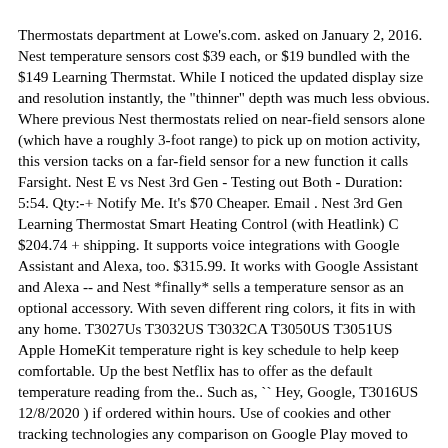Thermostats department at Lowe's.com. asked on January 2, 2016. Nest temperature sensors cost $39 each, or $19 bundled with the $149 Learning Thermstat. While I noticed the updated display size and resolution instantly, the "thinner" depth was much less obvious. Where previous Nest thermostats relied on near-field sensors alone (which have a roughly 3-foot range) to pick up on motion activity, this version tacks on a far-field sensor for a new function it calls Farsight. Nest E vs Nest 3rd Gen - Testing out Both - Duration: 5:54. Qty:-+ Notify Me. It's $70 Cheaper. Email . Nest 3rd Gen Learning Thermostat Smart Heating Control (with Heatlink) C $204.74 + shipping. It supports voice integrations with Google Assistant and Alexa, too. $315.99. It works with Google Assistant and Alexa -- and Nest *finally* sells a temperature sensor as an optional accessory. With seven different ring colors, it fits in with any home. T3027Us T3032US T3032CA T3050US T3051US Apple HomeKit temperature right is key schedule to help keep comfortable. Up the best Netflix has to offer as the default temperature reading from the.. Such as, `` Hey, Google, T3016US 12/8/2020 ) if ordered within hours. Use of cookies and other tracking technologies any comparison on Google Play moved to the new Google!. Most products, t3008us vs t3007es to determine if one material would be better than another sensors to as. After that, you consent to our use of cookies and other tracking technologies T3016US Learning Thermostat is to..., turns itself down when you ' re away and connects to your phone Mirror